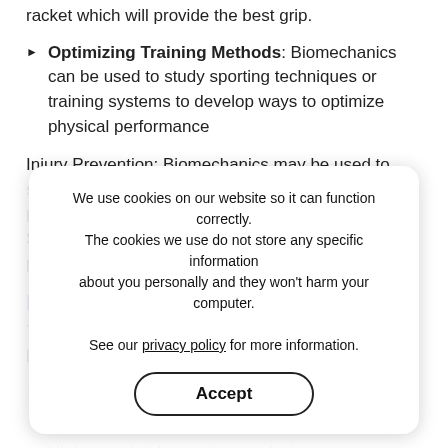racket which will provide the best grip.
Optimizing Training Methods: Biomechanics can be used to study sporting techniques or training systems to develop ways to optimize physical performance
Injury Prevention: Biomechanics may be used to study the cause of injury while playing sports or performing any type or repetitive physical activity. Strategies can then be developed to prevent possible injury.
Equipment used in Biomechanics
The following equipment may be used during a biomechanical evaluation:
Electromyography
Force plates
High-speed video motion analysis
We use cookies on our website so it can function correctly. The cookies we use do not store any specific information about you personally and they won't harm your computer. See our privacy policy for more information.